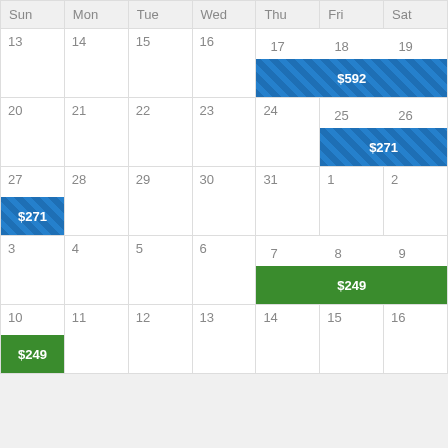| Sun | Mon | Tue | Wed | Thu | Fri | Sat |
| --- | --- | --- | --- | --- | --- | --- |
| 13 | 14 | 15 | 16 | 17 | 18 | 19 ($592 Thu-Sat) |
| 20 | 21 | 22 | 23 | 24 | 25 ($271 Fri-Sat) | 26 |
| 27 ($271 Sun) | 28 | 29 | 30 | 31 | 1 | 2 |
| 3 | 4 | 5 | 6 | 7 ($249 Thu-Sat) | 8 | 9 |
| 10 ($249 Sun) | 11 | 12 | 13 | 14 | 15 | 16 |